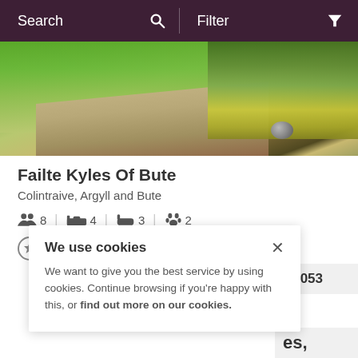Search   Filter
[Figure (photo): Outdoor garden photo showing green lawn, gravel path, and shrubs with rocks]
Failte Kyles Of Bute
Colintraive, Argyll and Bute
8 guests  4 bedrooms  3 bathrooms  2 pets
[Figure (other): Five star rating circles (all grey/empty)]
£3,053
We use cookies
We want to give you the best service by using cookies. Continue browsing if you're happy with this, or find out more on our cookies.
es,